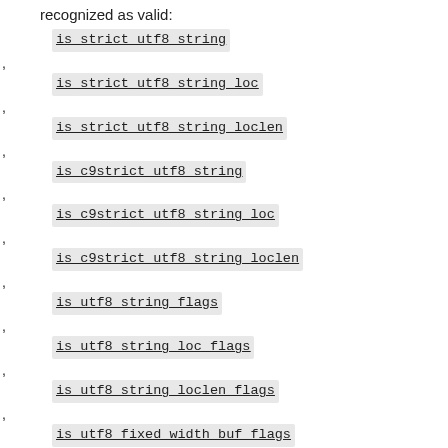recognized as valid:
is_strict_utf8_string ,
is_strict_utf8_string_loc ,
is_strict_utf8_string_loclen ,
is_c9strict_utf8_string ,
is_c9strict_utf8_string_loc ,
is_c9strict_utf8_string_loclen ,
is_utf8_string_flags ,
is_utf8_string_loc_flags ,
is_utf8_string_loclen_flags ,
is_utf8_fixed_width_buf_flags ,
is_utf8_fixed_width_buf_loc_flags ,
is_utf8_fixed_width_buf_loclen_flags .
is_utf8_invariant_string .
is_utf8_valid_partial_char .
is_utf8_valid_partial_char_flags .
The functions utf8n_to_uvchr and its derivatives have had several changes of behaviour. Calling them, while passing a string length